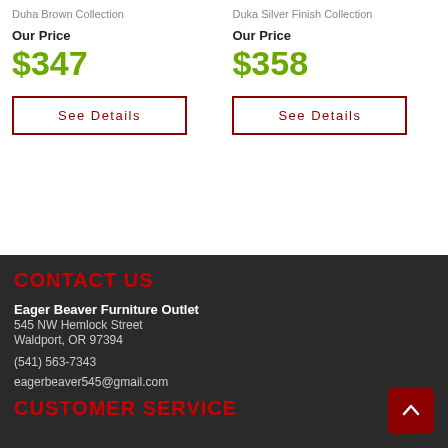Duha Brown Collection
Our Price
$347
See Details
Duka Silver Finish Collection
Our Price
$358
See Details
CONTACT US
Eager Beaver Furniture Outlet
545 NW Hemlock Street
Waldport, OR 97394

(541) 563-7343

eagerbeaver545@gmail.com
CUSTOMER SERVICE